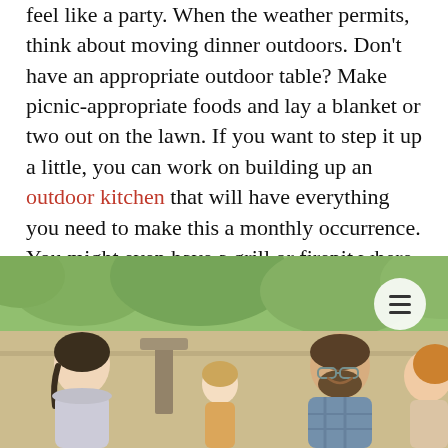feel like a party. When the weather permits, think about moving dinner outdoors. Don't have an appropriate outdoor table? Make picnic-appropriate foods and lay a blanket or two out on the lawn. If you want to step it up a little, you can work on building up an outdoor kitchen that will have everything you need to make this a monthly occurrence. You might even have a grill or firepit where you can eat fun things together like shish kebabs or roast-your-own-hot dogs.
[Figure (photo): A family with a young child sitting outdoors at a table, smiling and enjoying time together in a garden or backyard setting. A hamburger menu icon is visible in the top right corner of the image.]